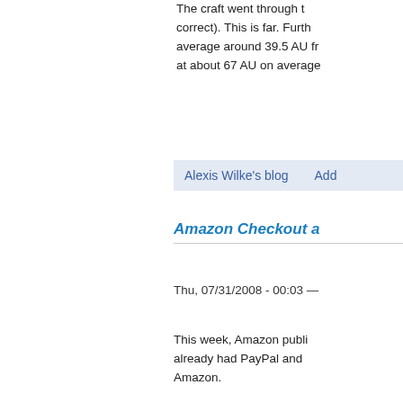The craft went through t… correct). This is far. Furth… average around 39.5 AU fr… at about 67 AU on average
Alexis Wilke's blog   Add
Amazon Checkout a…
Thu, 07/31/2008 - 00:03 —
This week, Amazon publi… already had PayPal and … Amazon.
Alexis Wilke's blog   Add
AJAX, CSS, HTML, X… Web 2.0?